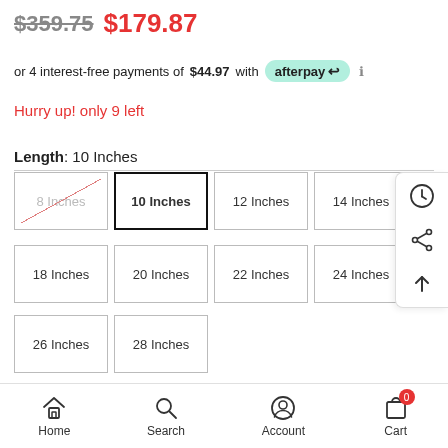$359.75  $179.87
or 4 interest-free payments of $44.97 with afterpay
Hurry up! only 9 left
Length: 10 Inches
8 Inches (unavailable)
10 Inches (selected)
12 Inches
14 Inches
16 Inches
18 Inches
20 Inches
22 Inches
24 Inches
26 Inches
28 Inches
Quantity:
Home  Search  Account  Cart 0